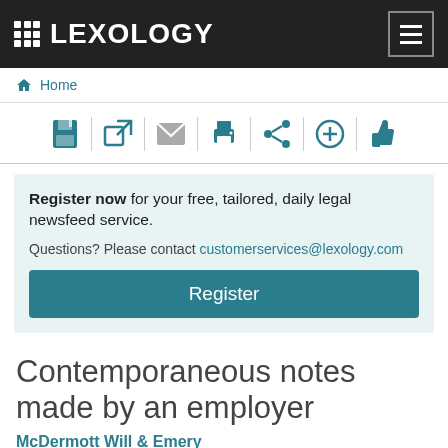LEXOLOGY
Home
[Figure (screenshot): Toolbar with 7 icons: save, external link, email, print, share, add, thumbs up separated by vertical dividers]
Register now for your free, tailored, daily legal newsfeed service. Questions? Please contact customerservices@lexology.com
Register
Contemporaneous notes made by an employer
McDermott Will & Emery